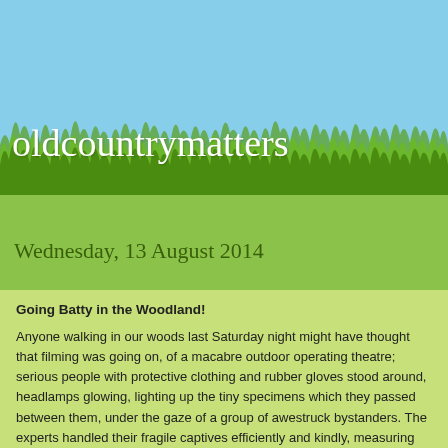oldcountrymatters
Wednesday, 13 August 2014
Going Batty in the Woodland!
Anyone walking in our woods last Saturday night might have thought that filming was going on, of a macabre outdoor operating theatre;  serious people with protective clothing and rubber gloves stood around, headlamps glowing, lighting up the tiny specimens which they passed between them, under the gaze of a group of awestruck bystanders.  The experts handled their fragile captives efficiently and kindly, measuring dimensions, recording sex and physical attributes, and attatching minute identification tags.  At first the only remarks to be heard were 'look at that nipple!' or 'this is a big one' and the shrill squeaks and, in one case, screams of the feistier specimens, snapping and showing their sharp teeth and idiosyncratic ears.  This dramatic scenario was explained clearly and entertainingly by David Lee, whose tremendous enthusiasm and knowledge of the subject kept his audience rapt and amused for a good couple of hours.  67 bats